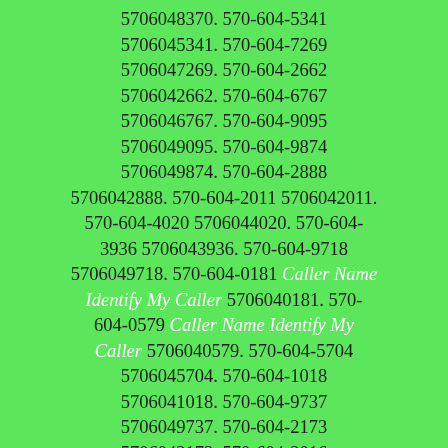5706045038. 570-604-9277 5706049277. 570-604-7560 5706047560. 570-604-9888 5706049888. 570-604-8370 5706048370. 570-604-5341 5706045341. 570-604-7269 5706047269. 570-604-2662 5706042662. 570-604-6767 5706046767. 570-604-9095 5706049095. 570-604-9874 5706049874. 570-604-2888 5706042888. 570-604-2011 5706042011. 570-604-4020 5706044020. 570-604-3936 5706043936. 570-604-9718 5706049718. 570-604-0181 Caller Name Identify My Caller 5706040181. 570-604-0579 Caller Name Identify My Caller 5706040579. 570-604-5704 5706045704. 570-604-1018 5706041018. 570-604-9737 5706049737. 570-604-2173 5706042173. 570-604-2016 5706042016. 570-604-2621 5706042621. 570-604-5263 5706045263. 570-604-8755